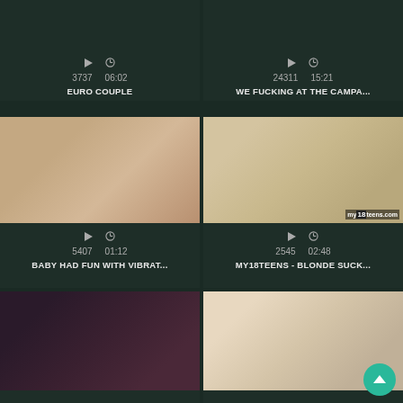[Figure (screenshot): Top-left video thumbnail area showing meta: play icon, clock icon, 3737 views, 06:02 duration]
3737   06:02
EURO COUPLE
[Figure (screenshot): Top-right video thumbnail area showing meta: play icon, clock icon, 24311 views, 15:21 duration]
24311   15:21
WE FUCKING AT THE CAMPA...
[Figure (photo): Video thumbnail: intimate scene on bed]
5407   01:12
BABY HAD FUN WITH VIBRAT...
[Figure (photo): Video thumbnail: blonde teen, my18teens.com watermark]
2545   02:48
MY18TEENS - BLONDE SUCK...
[Figure (photo): Video thumbnail: brunette in lace]
[Figure (photo): Video thumbnail: two women, brunette and blonde]